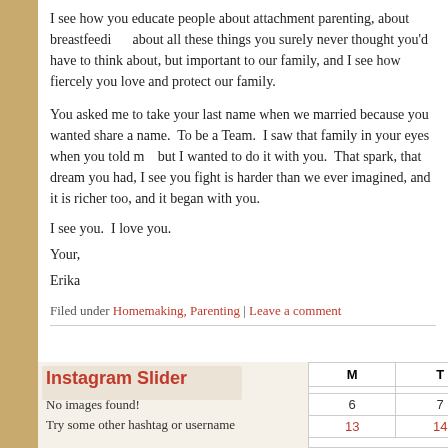I see how you educate people about attachment parenting, about breastfeeding, about all these things you surely never thought you'd have to think about, but are important to our family, and I see how fiercely you love and protect our family.
You asked me to take your last name when we married because you wanted us to share a name. To be a Team. I saw that family in your eyes when you told me, but I wanted to do it with you. That spark, that dream you had, I see you fight for it. is harder than we ever imagined, and it is richer too, and it began with you.
I see you. I love you.
Your,
Erika
Filed under Homemaking, Parenting | Leave a comment
Instagram Slider
No images found!
Try some other hashtag or username
| M | T |
| --- | --- |
|  |  |
| 6 | 7 |
| 13 | 14 |